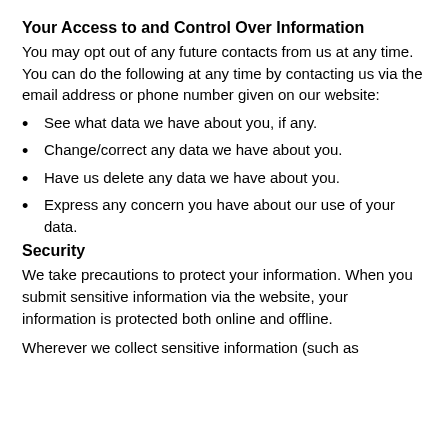Your Access to and Control Over Information
You may opt out of any future contacts from us at any time.  You can do the following at any time by contacting us via the email address or phone number given on our website:
See what data we have about you, if any.
Change/correct any data we have about you.
Have us delete any data we have about you.
Express any concern you have about our use of your data.
Security
We take precautions to protect your information. When you submit sensitive information via the website, your information is protected both online and offline.
Wherever we collect sensitive information (such as